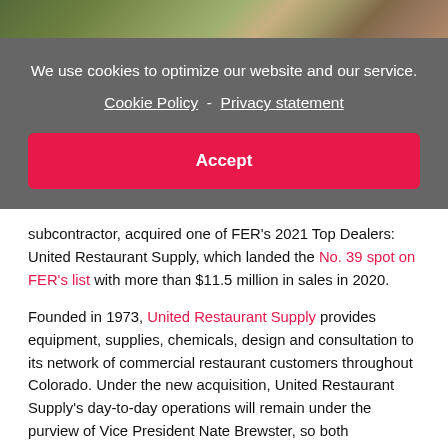[Figure (photo): Top portion of a photo showing an outdoor scene with greenery and a path]
We use cookies to optimize our website and our service.
Cookie Policy - Privacy statement
Accept
subcontractor, acquired one of FER's 2021 Top Dealers: United Restaurant Supply, which landed the No. 39 spot on FER's list with more than $11.5 million in sales in 2020.
Founded in 1973, United Restaurant Supply provides equipment, supplies, chemicals, design and consultation to its network of commercial restaurant customers throughout Colorado. Under the new acquisition, United Restaurant Supply's day-to-day operations will remain under the purview of Vice President Nate Brewster, so both companies can leverage their strengths to further improve their market positions.
“We are very incredibly excited to add United Restaurant Supply’s respected brand to our portfolio,” says Ryan Carr, president of Arizona Restaurant Supply, in a press release. “As